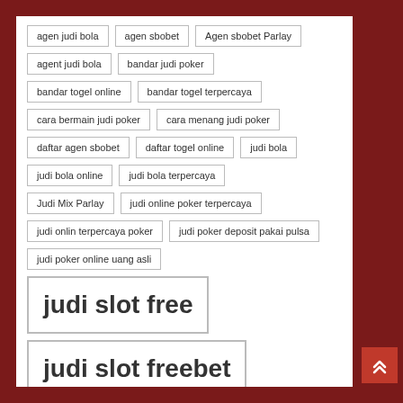agen judi bola
agen sbobet
Agen sbobet Parlay
agent judi bola
bandar judi poker
bandar togel online
bandar togel terpercaya
cara bermain judi poker
cara menang judi poker
daftar agen sbobet
daftar togel online
judi bola
judi bola online
judi bola terpercaya
Judi Mix Parlay
judi online poker terpercaya
judi onlin terpercaya poker
judi poker deposit pakai pulsa
judi poker online uang asli
judi slot free
judi slot freebet